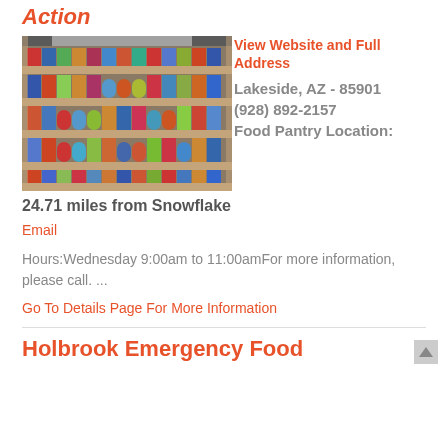Action
[Figure (photo): Interior of a food pantry showing shelves stocked with canned goods and food items]
View Website and Full Address
Lakeside, AZ - 85901
(928) 892-2157
Food Pantry Location:
24.71 miles from Snowflake
Email
Hours:Wednesday 9:00am to 11:00amFor more information, please call. ...
Go To Details Page For More Information
Holbrook Emergency Food